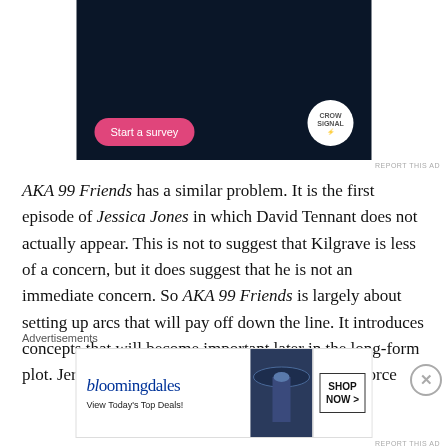[Figure (screenshot): Dark navy blue advertisement banner with a pink 'Start a survey' button and a circular white Crowdsignal logo]
REPORT THIS AD
AKA 99 Friends has a similar problem. It is the first episode of Jessica Jones in which David Tennant does not actually appear. This is not to suggest that Kilgrave is less of a concern, but it does suggest that he is not an immediate concern. So AKA 99 Friends is largely about setting up arcs that will pay off down the line. It introduces concepts that will become important later in the long-form plot. Jeri Hogarth confirms that she is getting a divorce
Advertisements
[Figure (screenshot): Bloomingdale's advertisement showing a woman with a large blue hat, with 'View Today's Top Deals!' text and a 'SHOP NOW >' button]
REPORT THIS AD